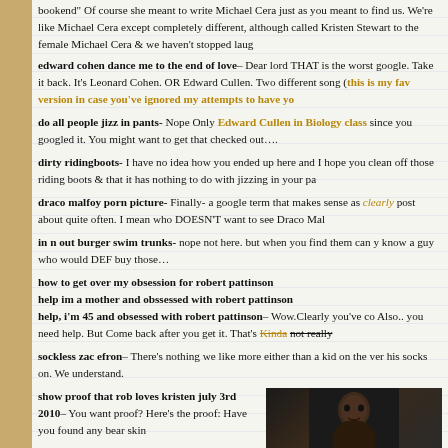bookend Of course she meant to write Michael Cera just as you meant to find us. We're like Michael Cera except completely different, although called Kristen Stewart to the female Michael Cera & we haven't stopped laug
edward cohen dance me to the end of love– Dear lord THAT is the worst google. Take it back. It's Leonard Cohen. OR Edward Cullen. Two different song (this is my fav version in case you've ignored my attempts to have yo
do all people jizz in pants- Nope Only Edward Cullen in Biology class since you googled it. You might want to get that checked out….
dirty ridingboots- I have no idea how you ended up here and I hope you clean off those riding boots & that it has nothing to do with jizzing in your pa
draco malfoy porn picture- Finally- a google term that makes sense as clearly post about quite often. I mean who DOESN'T want to see Draco Mal
in n out burger swim trunks- nope not here. but when you find them can y know a guy who would DEF buy those…
how to get over my obsession for robert pattinson
help im a mother and obssessed with robert pattinson
help, i'm 45 and obsessed with robert pattinson– Wow.Clearly you've co Also.. you need help. But Come back after you get it. That's Kinda not really
sockless zac efron– There's nothing we like more either than a kid on the ver his socks on. We understand.
show proof that rob loves kristen july 3rd 2010– You want proof? Here's the proof: Have you found any bear skin
[Figure (photo): Dark portrait photo of a person, partially visible on the right side of the page]